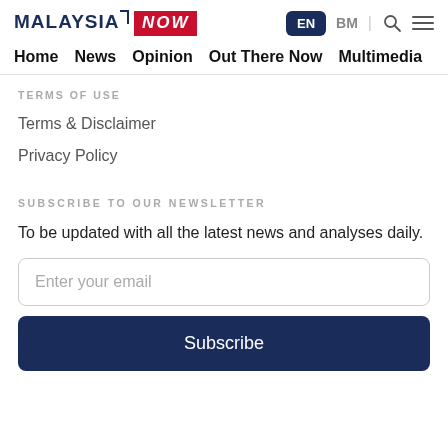[Figure (logo): MalaysiaNow logo with dark blue MALAYSIA text and red NOW bar]
EN  BM  [search icon]  [menu icon]
Home  News  Opinion  Out There Now  Multimedia
TERMS OF USE
Terms & Disclaimer
Privacy Policy
SUBSCRIBE TO OUR NEWSLETTER
To be updated with all the latest news and analyses daily.
Enter your email
Subscribe